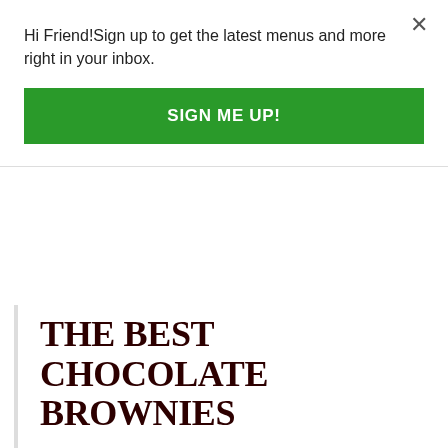Hi Friend!Sign up to get the latest menus and more right in your inbox.
SIGN ME UP!
THE BEST CHOCOLATE BROWNIES
COURSE: DESSERT   SERVINGS: 12
CALORIES: 304KCAL
Look no further for the recipe you'll turn to for every celebration, bad day, or moment in between. It's the perfect brownie recipe for any occasion.
PRINT RECIPE
INGREDIENTS